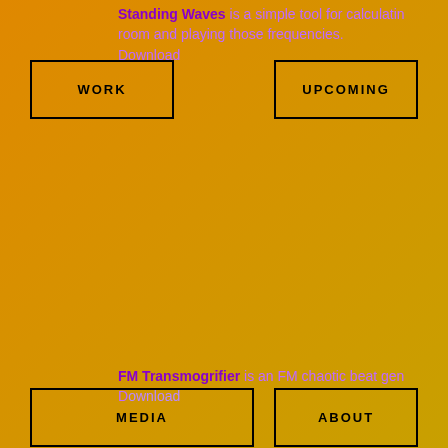Standing Waves is a simple tool for calculating room and playing those frequencies. Download
WORK
UPCOMING
FM Transmogrifier is an FM chaotic beat generator. Download
MEDIA
ABOUT